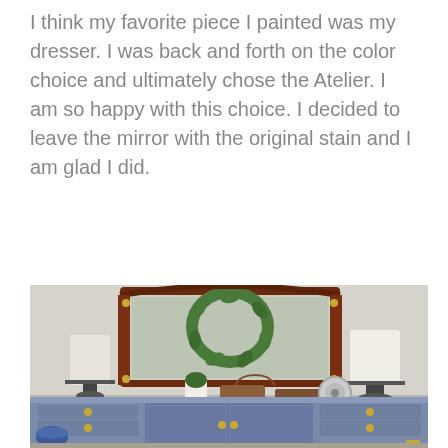I think my favorite piece I painted was my dresser. I was back and forth on the color choice and ultimately chose the Atelier. I am so happy with this choice. I decided to leave the mirror with the original stain and I am glad I did.
[Figure (photo): A painted blue-grey dresser with a large wood-framed mirror. On top of the dresser are two lamps, a small plant, a handbag, a wooden box, a small fan, and papers. A green wreath is reflected in the mirror. A blue ceramic jar sits on the floor to the left.]